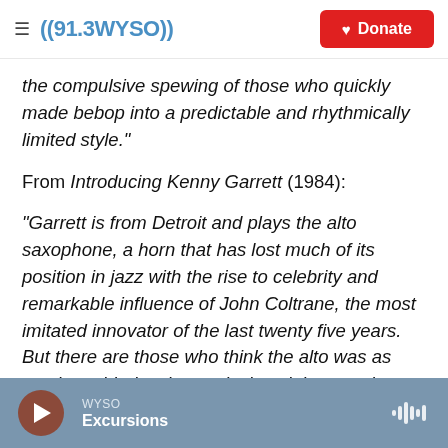((91.3 WYSO)) Donate
the compulsive spewing of those who quickly made bebop into a predictable and rhythmically limited style."
From Introducing Kenny Garrett (1984):
"Garrett is from Detroit and plays the alto saxophone, a horn that has lost much of its position in jazz with the rise to celebrity and remarkable influence of John Coltrane, the most imitated innovator of the last twenty five years. But there are those who think the alto was as much avoided as ignored, since it is a much harder saxophone to
WYSO Excursions